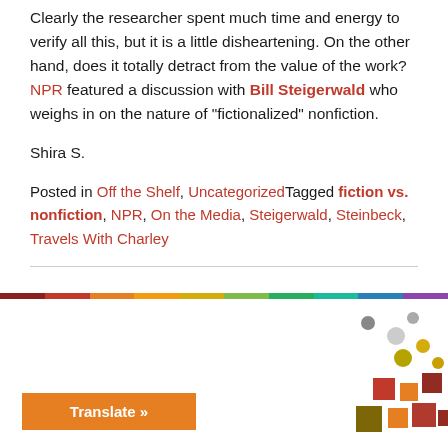Clearly the researcher spent much time and energy to verify all this, but it is a little disheartening. On the other hand, does it totally detract from the value of the work? NPR featured a discussion with Bill Steigerwald who weighs in on the nature of "fictionalized" nonfiction.
Shira S.
Posted in Off the Shelf, UncategorizedTagged fiction vs. nonfiction, NPR, On the Media, Steigerwald, Steinbeck, Travels With Charley
[Figure (other): Multicolored horizontal bar and decorative colored squares/dots cluster at bottom right, with an orange Translate button at lower left]